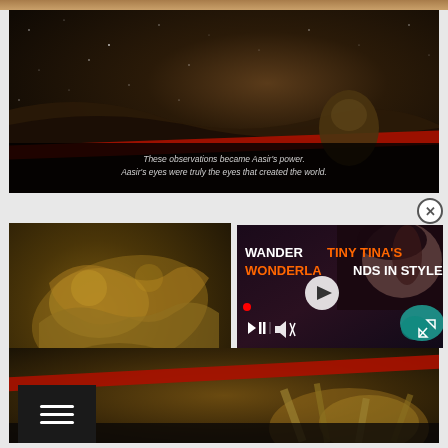[Figure (screenshot): Top partial strip showing game screenshot with warm brown tones.]
[Figure (screenshot): Dark fantasy game screenshot showing a character in a cosmic/space-like environment with stars and a red stripe. Subtitle text reads: 'These observations became Aasir's power. Aasir's eyes were truly the eyes that created the world.']
[Figure (screenshot): Bottom-left dark fantasy game screenshot showing golden armored figures/creatures in battle.]
[Figure (screenshot): Video advertisement overlay showing 'WANDER TINY TINA'S WONDERLANDS IN STYLE' with a woman's face and video player controls.]
[Figure (screenshot): Bottom portion of dark fantasy game screenshot continuing golden armored scene with red stripe.]